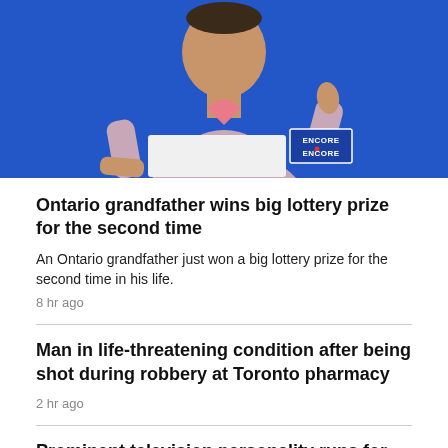[Figure (photo): An older man holding a white sign, giving a thumbs up in front of a blue background. An ENCORE lottery sign is visible in the lower right.]
Ontario grandfather wins big lottery prize for the second time
An Ontario grandfather just won a big lottery prize for the second time in his life.
8 hr ago
Man in life-threatening condition after being shot during robbery at Toronto pharmacy
2 hr ago
Prominent television personality runs for Toronto city council